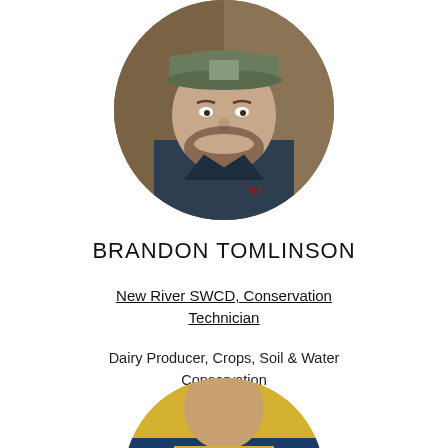[Figure (photo): Circular cropped headshot of Brandon Tomlinson, a man with a beard wearing a dark navy polo shirt with a Virginia Tech logo and a camouflage cap, smiling, with a wooden door background.]
BRANDON TOMLINSON
New River SWCD, Conservation Technician
Dairy Producer, Crops, Soil & Water Conservation
[Figure (photo): Circular cropped photo partially visible at bottom of page, showing a person wearing a yellow/gold shirt or jacket, only the upper portion visible.]